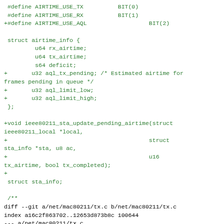[Figure (other): Source code diff showing C struct definitions and function declarations for airtime-related fields in mac80211, including #define macros, struct airtime_info fields, a void function declaration, and a git diff header for tx.c]